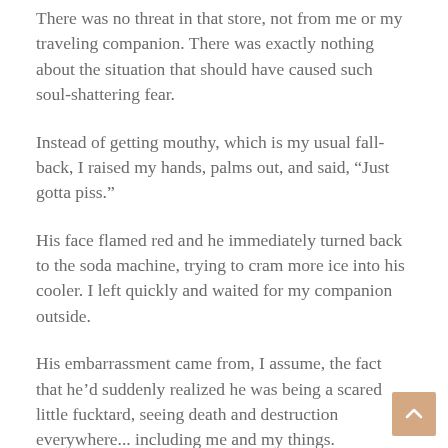There was no threat in that store, not from me or my traveling companion.  There was exactly nothing about the situation that should have caused such soul-shattering fear.
Instead of getting mouthy, which is my usual fall-back, I raised my hands, palms out, and said, “Just gotta piss.”
His face flamed red and he immediately turned back to the soda machine, trying to cram more ice into his cooler.  I left quickly and waited for my companion outside.
His embarrassment came from, I assume, the fact that he’d suddenly realized he was being a scared little fucktard, seeing death and destruction everywhere... including me and my things.